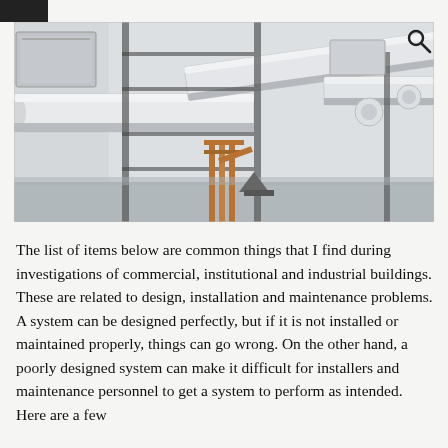[Figure (photo): Industrial mechanical room with large white insulated pipes and copper piping running along metal rack shelving, with electrical panels and equipment visible in the background.]
The list of items below are common things that I find during investigations of commercial, institutional and industrial buildings. These are related to design, installation and maintenance problems. A system can be designed perfectly, but if it is not installed or maintained properly, things can go wrong. On the other hand, a poorly designed system can make it difficult for installers and maintenance personnel to get a system to perform as intended. Here are a few